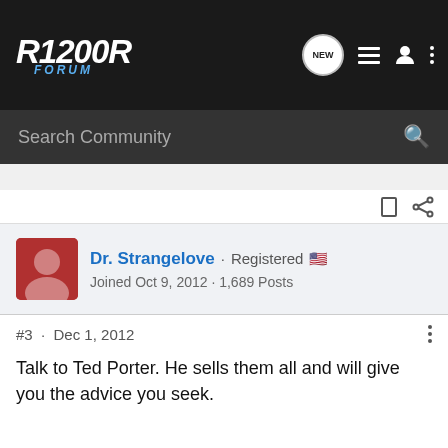R1200R FORUM
Search Community
Dr. Strangelove · Registered 🇺🇸
Joined Oct 9, 2012 · 1,689 Posts
#3 · Dec 1, 2012
Talk to Ted Porter. He sells them all and will give you the advice you seek.
2004 r1150r; 2009 r1200r; 2016 r1200gs